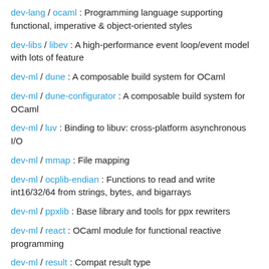dev-lang / ocaml : Programming language supporting functional, imperative & object-oriented styles
dev-libs / libev : A high-performance event loop/event model with lots of feature
dev-ml / dune : A composable build system for OCaml
dev-ml / dune-configurator : A composable build system for OCaml
dev-ml / luv : Binding to libuv: cross-platform asynchronous I/O
dev-ml / mmap : File mapping
dev-ml / ocplib-endian : Functions to read and write int16/32/64 from strings, bytes, and bigarrays
dev-ml / ppxlib : Base library and tools for ppx rewriters
dev-ml / react : OCaml module for functional reactive programming
dev-ml / result : Compat result type
dev-ml / seq : Compatibility package for the standard OCaml iterator type